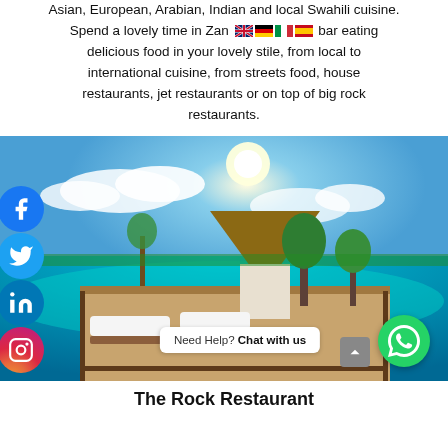Asian, European, Arabian, Indian and local Swahili cuisine. Spend a lovely time in Zanzibar eating delicious food in your lovely stile, from local to international cuisine, from streets food, house restaurants, jet restaurants or on top of big rock restaurants.
[Figure (photo): Outdoor restaurant with thatched roof hut on a rocky outcrop over turquoise ocean, with wooden deck chairs and tables, surrounded by tropical trees, social media icons on the left side, and a WhatsApp chat button overlay.]
The Rock Restaurant